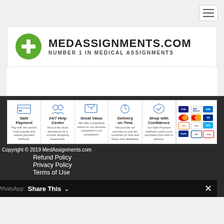[Figure (logo): MedAssignments.com logo with green circle containing a white plus sign, and bold text MEDASSIGNMENTS.COM / NUMBER 1 IN MEDICAL ASSIGNMENTS]
[Figure (infographic): Payment features strip showing: Safe Payment, 24/7 Help Center, Great Value, Delivery on Time, Shop with Confidence, and accepted payment card logos (Visa, Visa Electron, American Express, Maestro, MasterCard, JCB, Discover, Google Pay, AliPay, PayPal, JCR, Verified by Visa)]
Copyright © 2019 MedAssignments.com
Refund Policy
Privacy Policy
Terms of Use
WhatsApp:  Share This  ✕